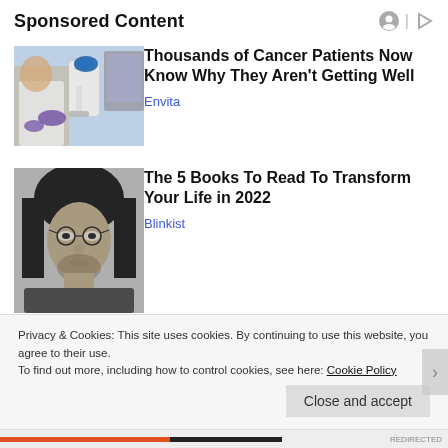Sponsored Content
[Figure (photo): Researcher in lab coat and purple gloves using a microscope with blue optical equipment]
Thousands of Cancer Patients Now Know Why They Aren't Getting Well
Envita
[Figure (photo): Black and white portrait of a young man with long hair and glasses]
The 5 Books To Read To Transform Your Life in 2022
Blinkist
Privacy & Cookies: This site uses cookies. By continuing to use this website, you agree to their use.
To find out more, including how to control cookies, see here: Cookie Policy
Close and accept